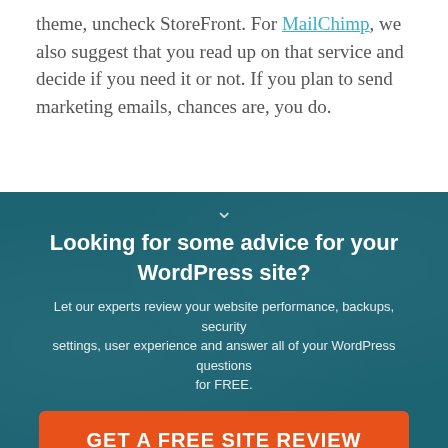theme, uncheck StoreFront. For MailChimp, we also suggest that you read up on that service and decide if you need it or not. If you plan to send marketing emails, chances are, you do.
[Figure (other): Dark teal banner section with chevron icon, heading, body text, and orange CTA button]
Looking for some advice for your WordPress site?
Let our experts review your website performance, backups, security settings, user experience and answer all of your WordPress questions for FREE.
GET A FREE SITE REVIEW